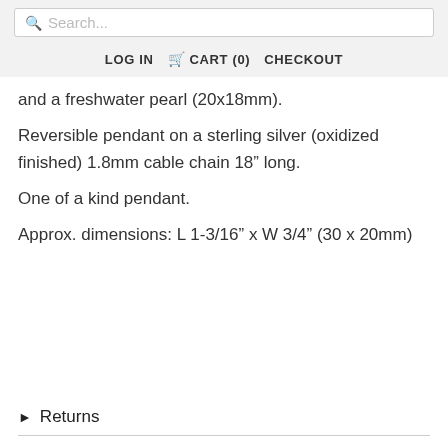Search... LOG IN CART (0) CHECKOUT
and a freshwater pearl (20x18mm).
Reversible pendant on a sterling silver (oxidized finished) 1.8mm cable chain 18” long.
One of a kind pendant.
Approx. dimensions: L 1-3/16” x W 3/4” (30 x 20mm)
► Returns